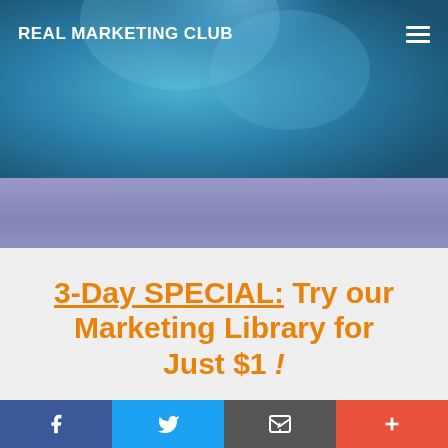REAL MARKETING CLUB
[Figure (illustration): Blue teal header banner background with circular gradient design element]
3-Day SPECIAL: Try our Marketing Library for Just $1 !
Want to take advantage of our lowest ever public
Facebook | Twitter | Email | More social share buttons